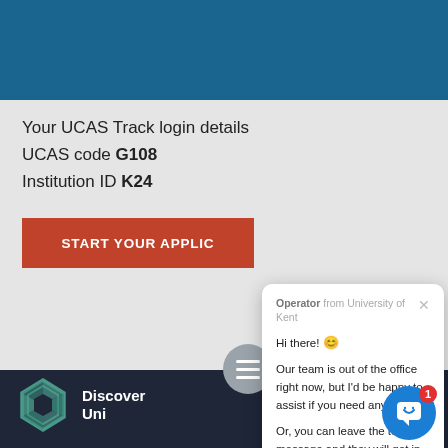[Figure (screenshot): Blue header navigation bar of a university website]
Your UCAS Track login details
UCAS code G108
Institution ID K24
START YOUR APPLIC
[Figure (screenshot): Chat popup from University of Kent operator: 'Hi there! Our team is out of the office right now, but I'd be happy to assist if you need any help. Or, you can leave the team a message and they will get in touch once they're back in the office.']
[Figure (logo): Discover Uni logo with hexagonal geometric icon and text 'Discover Uni']
[Figure (screenshot): Blue chat bubble button with red badge showing 1 unread message]